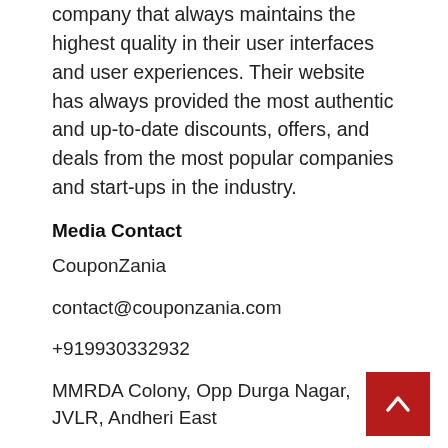company that always maintains the highest quality in their user interfaces and user experiences. Their website has always provided the most authentic and up-to-date discounts, offers, and deals from the most popular companies and start-ups in the industry.
Media Contact
CouponZania
contact@couponzania.com
+919930332932
MMRDA Colony, Opp Durga Nagar, JVLR, Andheri East
https://www.couponzania.com/
Source :CouponZania
This article was originally published by Issuewire.